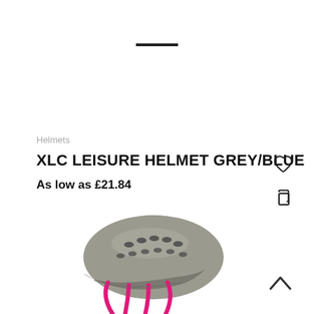[Figure (other): Horizontal black bar/line used as a UI navigation element at the top of the page]
Helmets
XLC LEISURE HELMET GREY/BLUE
As low as £21.84
[Figure (other): Heart (wishlist) icon outline, top right]
[Figure (other): Copy/share icon, top right below heart]
[Figure (photo): Photo of a grey bicycle helmet with pink straps, shown from the side on a white background]
[Figure (other): Up chevron arrow icon at bottom right]